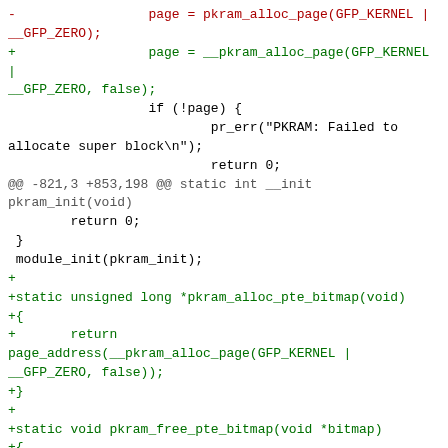Code diff showing changes to pkram memory allocation functions including pkram_alloc_page, __pkram_alloc_page, pkram_alloc_pte_bitmap, pkram_free_pte_bitmap, and set_p4d macro definition.